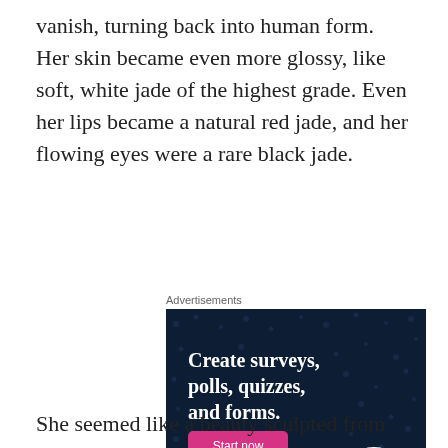vanish, turning back into human form. Her skin became even more glossy, like soft, white jade of the highest grade. Even her lips became a natural red jade, and her flowing eyes were a rare black jade.
[Figure (illustration): Advertisement banner for Crowdsignal (formerly Polldaddy) showing dark navy background with text 'Create surveys, polls, quizzes, and forms.' with a pink 'Start now' button, WordPress logo in bottom left, and Crowdsignal logo in bottom right circle with dotted border.]
Advertisements
She seemed like a beauty sculpted from jade that an